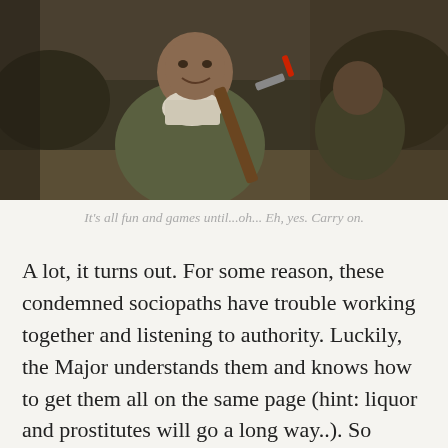[Figure (photo): A smiling soldier in olive military jacket with a white cloth around his neck, holding a rifle with a red-tipped bayonet, sitting outdoors.]
It's all fun and games until...oh... Eh, yes. Carry on.
A lot, it turns out. For some reason, these condemned sociopaths have trouble working together and listening to authority. Luckily, the Major understands them and knows how to get them all on the same page (hint: liquor and prostitutes will go a long way..). So gradually, they learn to cooperate, have each other's backs, and the